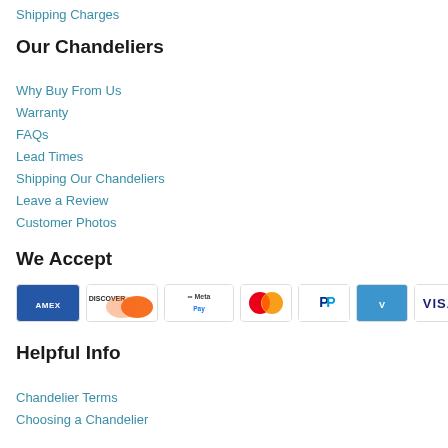Shipping Charges
Our Chandeliers
Why Buy From Us
Warranty
FAQs
Lead Times
Shipping Our Chandeliers
Leave a Review
Customer Photos
We Accept
[Figure (other): Payment method icons: American Express, Discover, Meta Pay, Mastercard, PayPal, Venmo, Visa]
Helpful Info
Chandelier Terms
Choosing a Chandelier